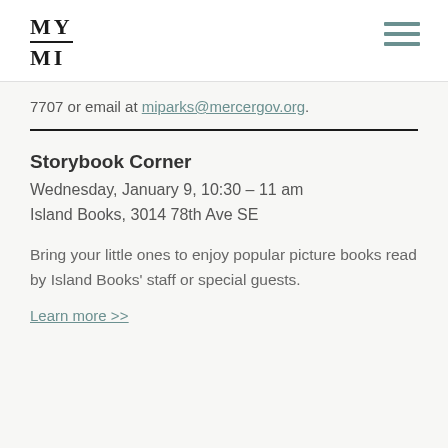MY MI
7707 or email at miparks@mercergov.org.
Storybook Corner
Wednesday, January 9, 10:30 – 11 am
Island Books, 3014 78th Ave SE
Bring your little ones to enjoy popular picture books read by Island Books' staff or special guests.
Learn more >>